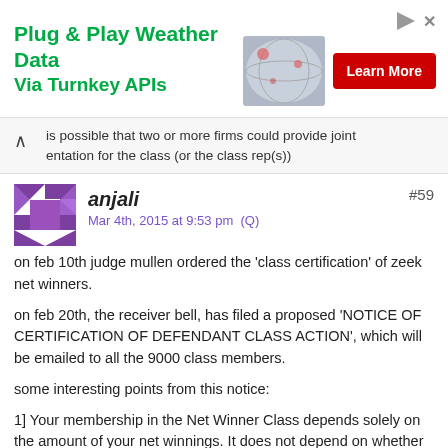[Figure (other): Advertisement banner: 'Plug & Play Weather Data Via Turnkey APIs' with a red 'Learn More' button and a globe/weather image]
is possible that two or more firms could provide joint representation for the class (or the class rep(s))
anjali #59
Mar 4th, 2015 at 9:53 pm (Q)
on feb 10th judge mullen ordered the 'class certification' of zeek net winners.
on feb 20th, the receiver bell, has filed a proposed 'NOTICE OF CERTIFICATION OF DEFENDANT CLASS ACTION', which will be emailed to all the 9000 class members.
some interesting points from this notice:
1] Your membership in the Net Winner Class depends solely on the amount of your net winnings. It does not depend on whether or not you believed ZeekRewards was lawful, your level of knowledge concerning the program or whether you still have the money you received.